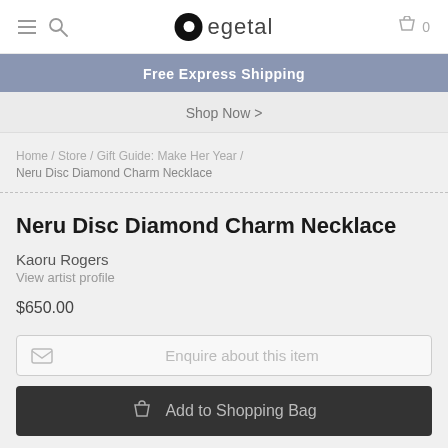egetal — navigation header with hamburger menu, search icon, logo, cart
Free Express Shipping
Shop Now >
Home / Store / Gift Guide: Make Her Year / Neru Disc Diamond Charm Necklace
Neru Disc Diamond Charm Necklace
Kaoru Rogers
View artist profile
$650.00
Enquire about this item
Add to Shopping Bag